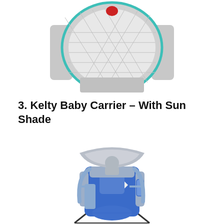[Figure (photo): Top portion of a gray baby carrier with teal/green trim and diamond-pattern mesh fabric visible, shown from the back/top angle on a white background.]
3. Kelty Baby Carrier – With Sun Shade
[Figure (photo): A Kelty baby carrier in blue and gray colors, featuring a sun shade canopy on top, multiple pockets, gray padded straps, and a metal frame stand. Shown in full against a white background.]